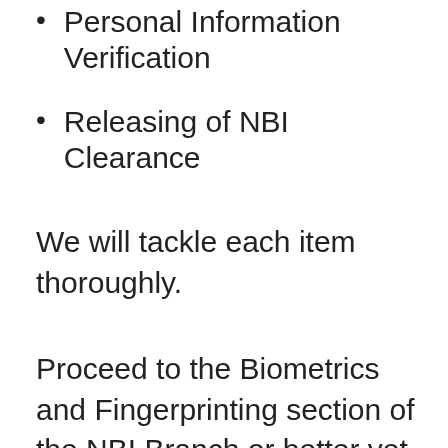Personal Information Verification
Releasing of NBI Clearance
We will tackle each item thoroughly.
Proceed to the Biometrics and Fingerprinting section of the NBI Branch or better yet, ask the Officer of the day or the Guard for